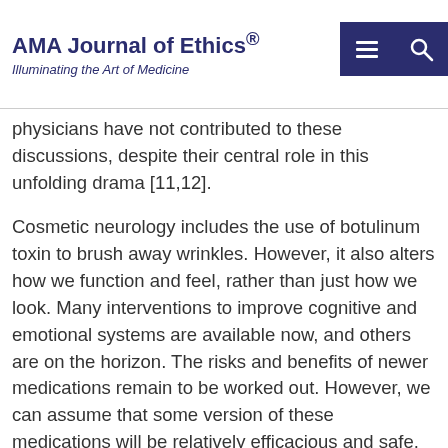AMA Journal of Ethics® — Illuminating the Art of Medicine
The possibility of 'better brains' has captured the imagination of the press, policy pundits, and ethicists [1-10]. With few exceptions, physicians have not contributed to these discussions, despite their central role in this unfolding drama [11,12].
Cosmetic neurology includes the use of botulinum toxin to brush away wrinkles. However, it also alters how we function and feel, rather than just how we look. Many interventions to improve cognitive and emotional systems are available now, and others are on the horizon. The risks and benefits of newer medications remain to be worked out. However, we can assume that some version of these medications will be relatively efficacious and safe. The accompanying article on neuroethics by Martha